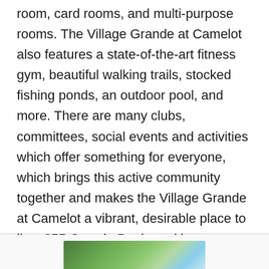room, card rooms, and multi-purpose rooms. The Village Grande at Camelot also features a state-of-the-art fitness gym, beautiful walking trails, stocked fishing ponds, an outdoor pool, and more. There are many clubs, committees, social events and activities which offer something for everyone, which brings this active community together and makes the Village Grande at Camelot a vibrant, desirable place to live. 355 Grande Boulevard is conveniently located just 3 miles from the new Inspira hospital, also near historic Mullica Hill, shopping, dining, and a short commute to Philadelphia, shore points or Delaware.
[Figure (photo): Outdoor photograph showing trees with green foliage against a blue sky, partially visible at the bottom of the page.]